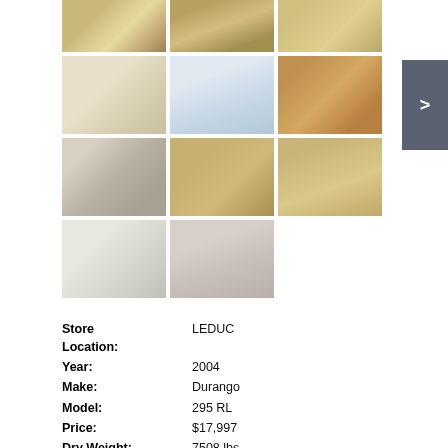[Figure (photo): Grid of 11 RV interior photos showing living area, kitchen, table, sink, storage stairs, appliances, bathroom floor, vanity, bathtub, and toilet]
Store Location: LEDUC
Year: 2004
Make: Durango
Model: 295 RL
Price: $17,997
Dry Weight: 7508 lbs
Stock #: MG-41894